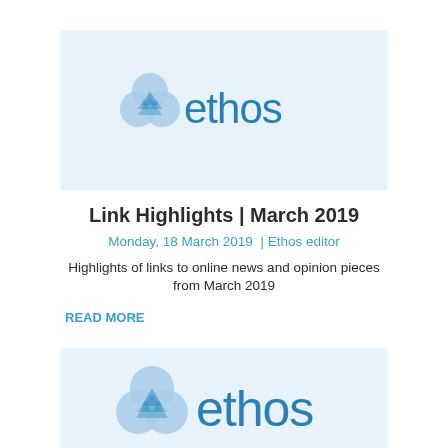[Figure (logo): Ethos logo: blue trefoil/trinity symbol with blue 'ethos' text on light blue background]
Link Highlights | March 2019
Monday, 18 March 2019  |  Ethos editor
Highlights of links to online news and opinion pieces from March 2019
READ MORE
[Figure (logo): Ethos logo: blue trefoil/trinity symbol with blue 'ethos' text on light blue background (partial)]